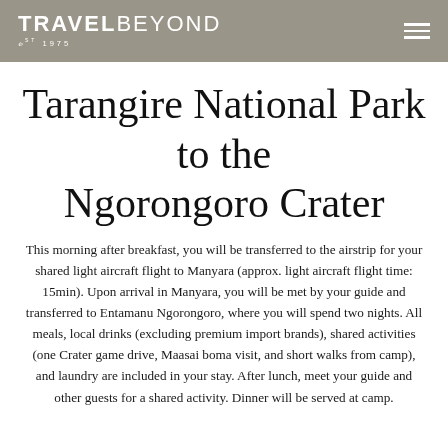TRAVELBEYOND EST 1975
Tarangire National Park to the Ngorongoro Crater
This morning after breakfast, you will be transferred to the airstrip for your shared light aircraft flight to Manyara (approx. light aircraft flight time: 15min). Upon arrival in Manyara, you will be met by your guide and transferred to Entamanu Ngorongoro, where you will spend two nights. All meals, local drinks (excluding premium import brands), shared activities (one Crater game drive, Maasai boma visit, and short walks from camp), and laundry are included in your stay. After lunch, meet your guide and other guests for a shared activity. Dinner will be served at camp.